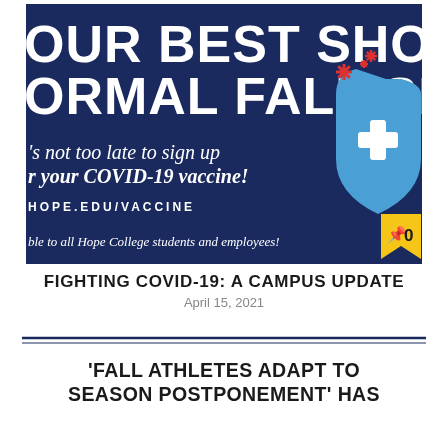[Figure (infographic): Dark navy blue promotional banner for Hope College COVID-19 vaccine sign-up. Bold white text reads 'YOUR BEST SHOT AT A NORMAL FALL SEMESTER'. Italic white text reads 'It's not too late to sign up for your COVID-19 vaccine!' with URL 'HOPE.EDU/VACCINE' below. Small text at bottom: 'able to all Hope College students and employees!' Right side shows a light blue shield with a white medical cross/plus symbol, with red star/asterisk shapes above. Bottom-right shows a yellow bookmark pin badge with '0'.]
FIGHTING COVID-19: A CAMPUS UPDATE
April 15, 2021
'FALL ATHLETES ADAPT TO SEASON POSTPONEMENT' HAS